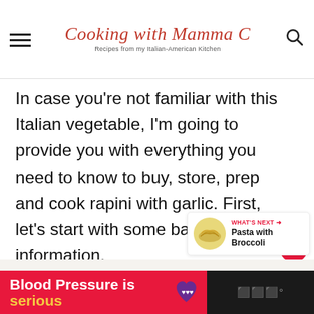Cooking with Mamma C — Recipes from my Italian-American Kitchen
In case you're not familiar with this Italian vegetable, I'm going to provide you with everything you need to know to buy, store, prep and cook rapini with garlic. First, let's start with some background information.
[Figure (other): What's Next card showing Pasta with Broccoli]
[Figure (other): Advertisement banner: Blood Pressure is serious]